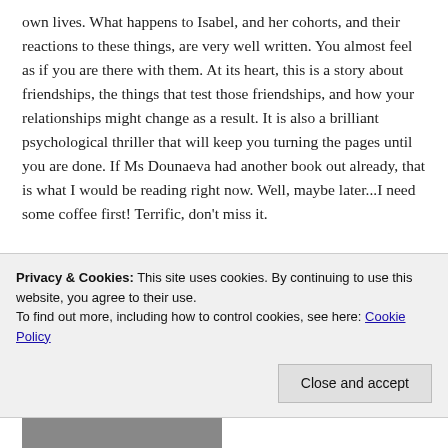own lives. What happens to Isabel, and her cohorts, and their reactions to these things, are very well written. You almost feel as if you are there with them. At its heart, this is a story about friendships, the things that test those friendships, and how your relationships might change as a result. It is also a brilliant psychological thriller that will keep you turning the pages until you are done. If Ms Dounaeva had another book out already, that is what I would be reading right now. Well, maybe later...I need some coffee first! Terrific, don't miss it.
[Figure (photo): Book cover image with dark/black background and white serif text partially visible]
Privacy & Cookies: This site uses cookies. By continuing to use this website, you agree to their use.
To find out more, including how to control cookies, see here: Cookie Policy
Close and accept